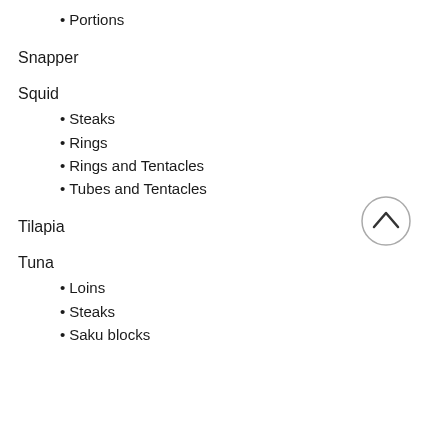Portions
Snapper
Squid
Steaks
Rings
Rings and Tentacles
Tubes and Tentacles
Tilapia
Tuna
Loins
Steaks
Saku blocks